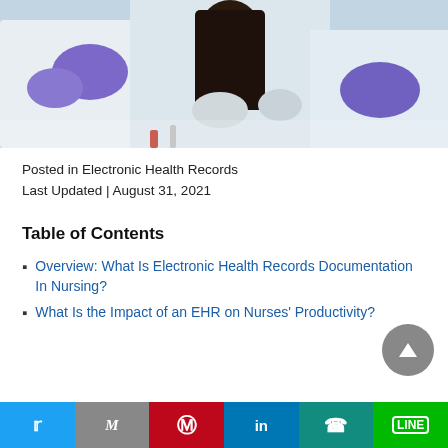[Figure (photo): Healthcare workers in white lab coats and purple gloves working in a laboratory setting]
Posted in Electronic Health Records
Last Updated | August 31, 2021
Table of Contents
Overview: What Is Electronic Health Records Documentation In Nursing?
What Is the Impact of an EHR on Nurses' Productivity?